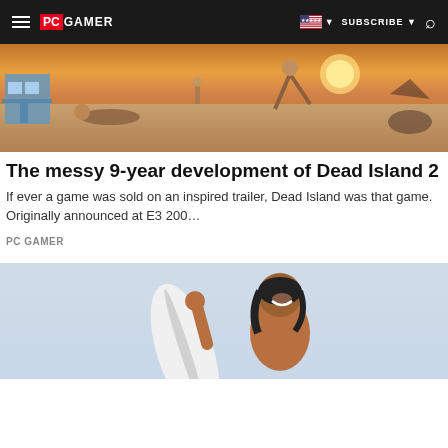PC GAMER — SUBSCRIBE
[Figure (photo): Beach scene at sunset with people on the sand, a lifeguard tower visible on the left]
The messy 9-year development of Dead Island 2
If ever a game was sold on an inspired trailer, Dead Island was that game. Originally announced at E3 200…
PC Gamer
[Figure (photo): Woman smiling and holding a surfboard against a light blue sky]